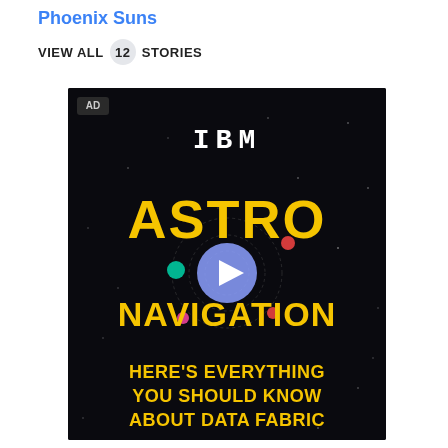Phoenix Suns
VIEW ALL 12 STORIES
[Figure (screenshot): IBM advertisement for Astro Navigation video. Dark/black background with IBM logo at top in white striped letters, large yellow bold text reading 'ASTRO' and 'NAVIGATION' with colorful planet dots, a play button in the center, and yellow text at bottom reading 'HERE'S EVERYTHING YOU SHOULD KNOW ABOUT DATA FABRIC'. AD badge in top left corner.]